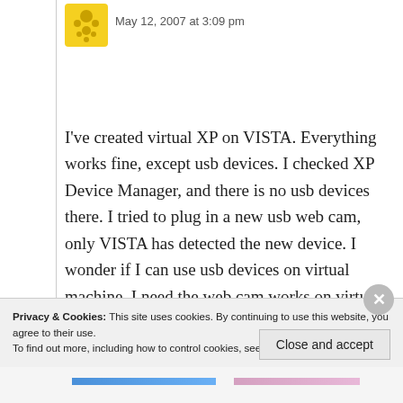May 12, 2007 at 3:09 pm
I've created virtual XP on VISTA. Everything works fine, except usb devices. I checked XP Device Manager, and there is no usb devices there. I tried to plug in a new usb web cam, only VISTA has detected the new device. I wonder if I can use usb devices on virtual machine. I need the web cam works on virtual XP because my web cam doesn't support VISTA. In advance, thanks for helping me solve the problem.
Privacy & Cookies: This site uses cookies. By continuing to use this website, you agree to their use.
To find out more, including how to control cookies, see here: Cookie Policy
Close and accept